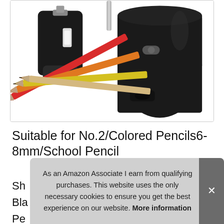[Figure (photo): Electric pencil sharpener (black) shown with colored pencils (red, orange, yellow) fanned out in front of it. Product image on white background.]
Suitable for No.2/Colored Pencils6-8mm/School Pencil
Sh
Bla
Pe
As an Amazon Associate I earn from qualifying purchases. This website uses the only necessary cookies to ensure you get the best experience on our website. More information